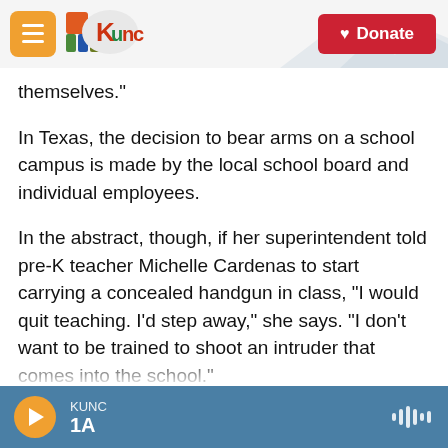KUNC | Donate
themselves."
In Texas, the decision to bear arms on a school campus is made by the local school board and individual employees.
In the abstract, though, if her superintendent told pre-K teacher Michelle Cardenas to start carrying a concealed handgun in class, "I would quit teaching. I'd step away," she says. "I don't want to be trained to shoot an intruder that comes into the school."
She works at Del Valle Independent School District
KUNC 1A